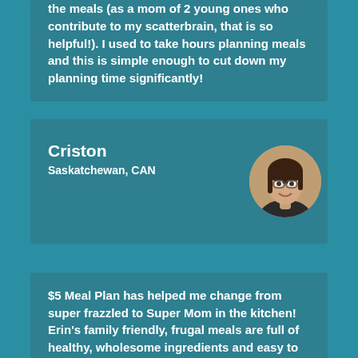the meals (as a mom of 2 young ones who contribute to my scatterbrain, that is so helpful!). I used to take hours planning meals and this is simple enough to cut down my planning time significantly!
Criston
Saskatchewan, CAN
[Figure (photo): Circular profile photo of a woman with glasses, brown hair, smiling, light background]
$5 Meal Plan has helped me change from super frazzled to Super Mom in the kitchen! Erin's family friendly, frugal meals are full of healthy, wholesome ingredients and easy to follow directions. The detailed shopping list makes grocery shopping a breeze. I'm so happy to have an expert do the planning for me so I can enjoy cooking again.